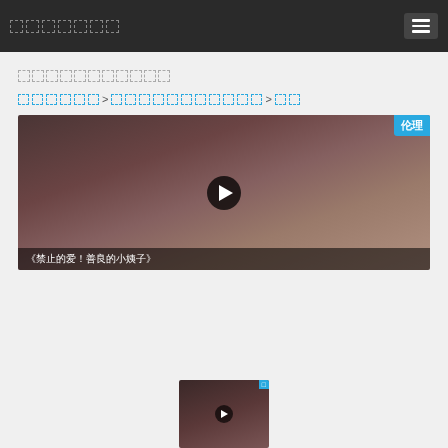□□□□□□□
□□□□□□□□□□□
□□□□□□ > □□□□□□□□□□□ > □□
[Figure (screenshot): Video thumbnail showing a person, with play button overlay, category badge '伦理', and caption '《禁止的爱！善良的小姨子》']
《禁止的爱！善良的小姨子》
[Figure (screenshot): Small video thumbnail at bottom center with play button and blue badge]